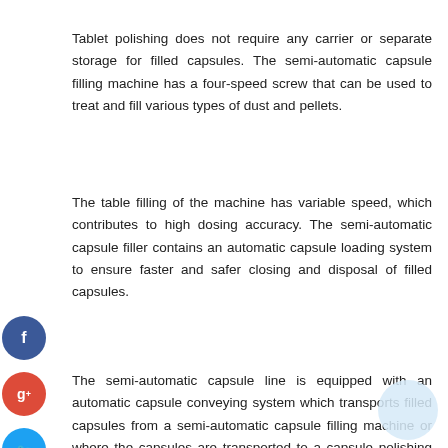Tablet polishing does not require any carrier or separate storage for filled capsules. The semi-automatic capsule filling machine has a four-speed screw that can be used to treat and fill various types of dust and pellets.
The table filling of the machine has variable speed, which contributes to high dosing accuracy. The semi-automatic capsule filler contains an automatic capsule loading system to ensure faster and safer closing and disposal of filled capsules.
The semi-automatic capsule line is equipped with an automatic capsule conveying system which transports filled capsules from a semi-automatic capsule filling machine or where the capsules are transported to a capsule polishing machine.